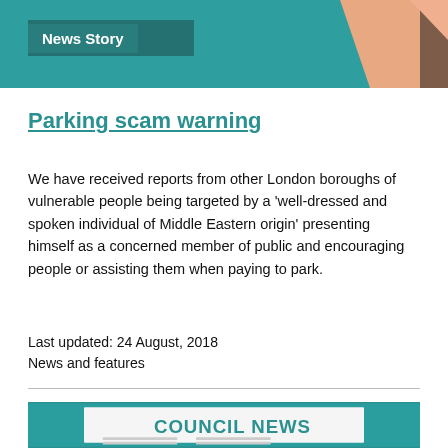[Figure (illustration): Top banner with teal background and partially visible person's hand/arm, with a dark teal 'News Story' label overlay in the bottom-left of the banner]
News Story
Parking scam warning
We have received reports from other London boroughs of vulnerable people being targeted by a 'well-dressed and spoken individual of Middle Eastern origin' presenting himself as a concerned member of public and encouraging people or assisting them when paying to park.
Last updated: 24 August, 2018
News and features
[Figure (illustration): Council News banner image with teal background and large teal 'COUNCIL NEWS' text on a white newspaper graphic with horizontal lines suggesting text]